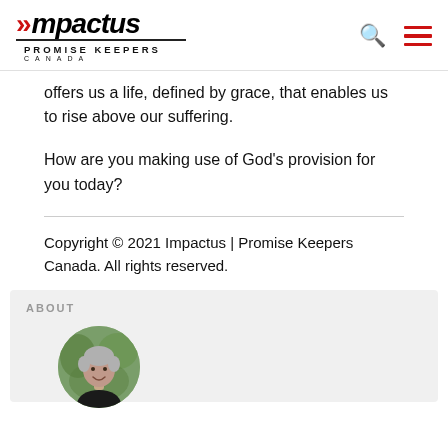Impactus | Promise Keepers Canada
offers us a life, defined by grace, that enables us to rise above our suffering.
How are you making use of God's provision for you today?
Copyright © 2021 Impactus | Promise Keepers Canada. All rights reserved.
ABOUT
[Figure (photo): Circular portrait photo of a smiling older man with grey hair, outdoors with green foliage background]